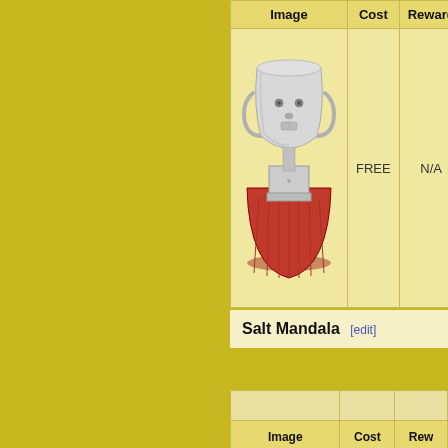| Image | Cost | Reward | Se... |
| --- | --- | --- | --- |
| [trophy image] | FREE | N/A |  |
Salt Mandala [edit]
| Image | Cost | Rew... |
| --- | --- | --- |
|  |  |  |